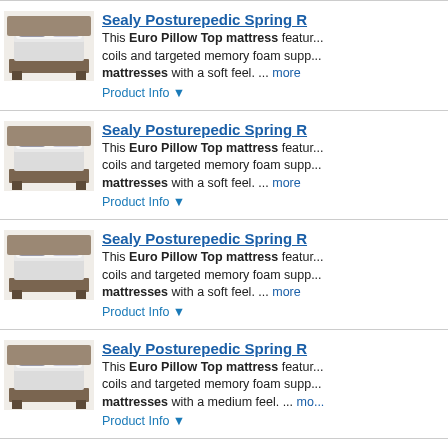[Figure (photo): Sealy Posturepedic Euro Pillow Top mattress product image 1]
Sealy Posturepedic Spring R...
This Euro Pillow Top mattress featur... coils and targeted memory foam supp... mattresses with a soft feel. ... more
Product Info ▼
[Figure (photo): Sealy Posturepedic Euro Pillow Top mattress product image 2]
Sealy Posturepedic Spring R...
This Euro Pillow Top mattress featur... coils and targeted memory foam supp... mattresses with a soft feel. ... more
Product Info ▼
[Figure (photo): Sealy Posturepedic Euro Pillow Top mattress product image 3]
Sealy Posturepedic Spring R...
This Euro Pillow Top mattress featur... coils and targeted memory foam supp... mattresses with a soft feel. ... more
Product Info ▼
[Figure (photo): Sealy Posturepedic Euro Pillow Top mattress product image 4]
Sealy Posturepedic Spring R...
This Euro Pillow Top mattress featur... coils and targeted memory foam supp... mattresses with a medium feel. ... mo...
Product Info ▼
[Figure (photo): Sealy Posturepedic Euro Pillow Top mattress product image 5]
Sealy Posturepedic Spring R...
This Euro Pillow Top mattress featur... coils and targeted memory foam supp...